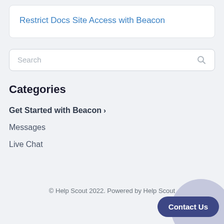Restrict Docs Site Access with Beacon
[Figure (screenshot): Search input box with placeholder text 'Search' and a magnifying glass icon on the right]
Categories
Get Started with Beacon >
Messages
Live Chat
© Help Scout 2022. Powered by Help Scout
Contact Us